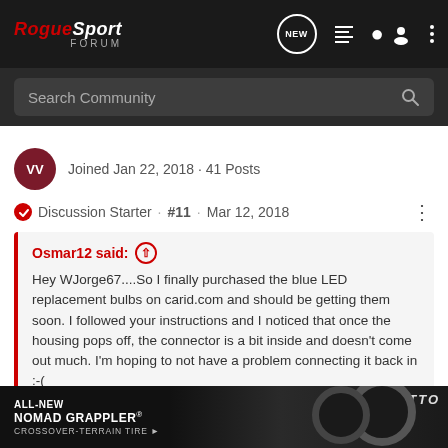RogueSport Forum
Search Community
VV  Joined Jan 22, 2018 · 41 Posts
Discussion Starter · #11 · Mar 12, 2018
Osmar12 said: Hey WJorge67....So I finally purchased the blue LED replacement bulbs on carid.com and should be getting them soon. I followed your instructions and I noticed that once the housing pops off, the connector is a bit inside and doesn't come out much. I'm hoping to not have a problem connecting it back in :-(
Yes, I experienced that too on the right one. I just tugged on it a bit and it was enough to disconnect and reconnect. If you notice, the clip is on the left side but reconnects on the right. So, when yo... then put in the w... and it will
[Figure (screenshot): Advertisement banner for Nitto ALL-NEW NOMAD GRAPPLER CROSSOVER-TERRAIN TIRE with car image and tire silhouette]